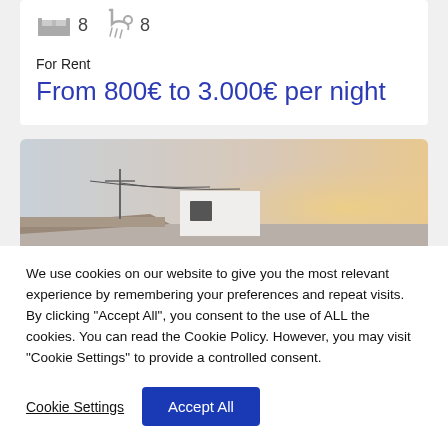8  8
For Rent
From 800€ to 3.000€ per night
[Figure (photo): Exterior photo of a white Mediterranean-style building against a hazy sunset sky]
We use cookies on our website to give you the most relevant experience by remembering your preferences and repeat visits. By clicking "Accept All", you consent to the use of ALL the cookies. You can read the Cookie Policy. However, you may visit "Cookie Settings" to provide a controlled consent.
Cookie Settings
Accept All